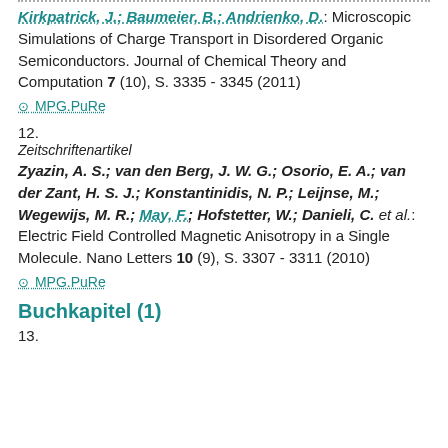Kirkpatrick, J.; Baumeier, B.; Andrienko, D.: Microscopic Simulations of Charge Transport in Disordered Organic Semiconductors. Journal of Chemical Theory and Computation 7 (10), S. 3335 - 3345 (2011)
⊙ MPG.PuRe
12.
Zeitschriftenartikel
Zyazin, A. S.; van den Berg, J. W. G.; Osorio, E. A.; van der Zant, H. S. J.; Konstantinidis, N. P.; Leijnse, M.; Wegewijs, M. R.; May, F.; Hofstetter, W.; Danieli, C. et al.: Electric Field Controlled Magnetic Anisotropy in a Single Molecule. Nano Letters 10 (9), S. 3307 - 3311 (2010)
⊙ MPG.PuRe
Buchkapitel (1)
13.